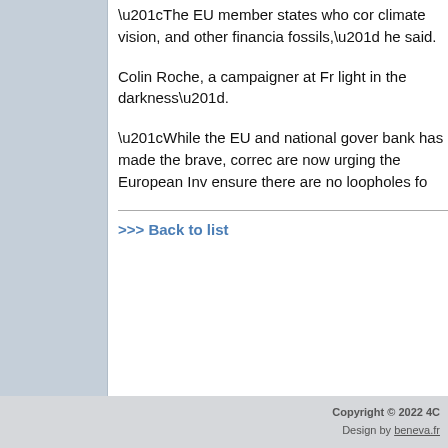“The EU member states who com- climate vision, and other financia- fossils,” he said.
Colin Roche, a campaigner at Fr- light in the darkness”.
“While the EU and national gover- bank has made the brave, correc- are now urging the European Inv- ensure there are no loopholes fo-
>>> Back to list
Copyright © 2022 4C Design by beneva.fr